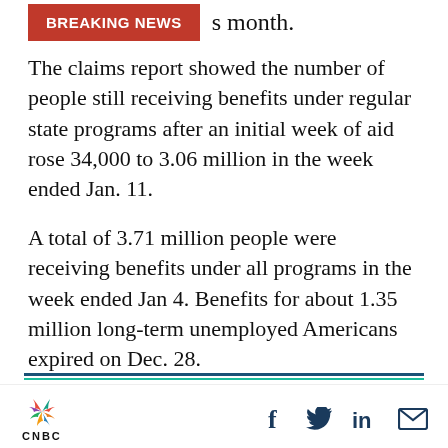[Figure (logo): BREAKING NEWS red banner label]
s month.
The claims report showed the number of people still receiving benefits under regular state programs after an initial week of aid rose 34,000 to 3.06 million in the week ended Jan. 11.
A total of 3.71 million people were receiving benefits under all programs in the week ended Jan 4. Benefits for about 1.35 million long-term unemployed Americans expired on Dec. 28.
--By Reuters
[Figure (logo): CNBC logo with peacock icon and social media share icons (Facebook, Twitter, LinkedIn, Email)]